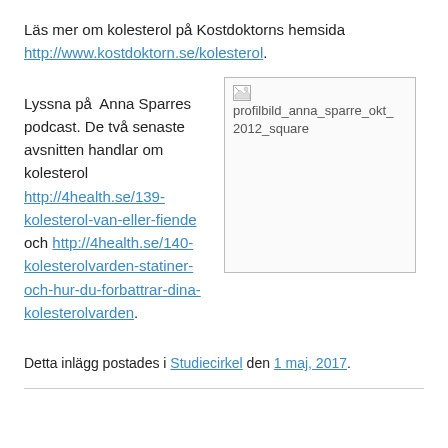Läs mer om kolesterol på Kostdoktorns hemsida http://www.kostdoktorn.se/kolesterol.
Lyssna på  Anna Sparres podcast. De två senaste avsnitten handlar om kolesterol http://4health.se/139-kolesterol-van-eller-fiende och http://4health.se/140-kolesterolvarden-statiner-och-hur-du-forbattrar-dina-kolesterolvarden.
[Figure (photo): Profile image placeholder showing broken image icon with alt text: profilbild_anna_sparre_okt_2012_square]
Detta inlägg postades i Studiecirkel den 1 maj, 2017.